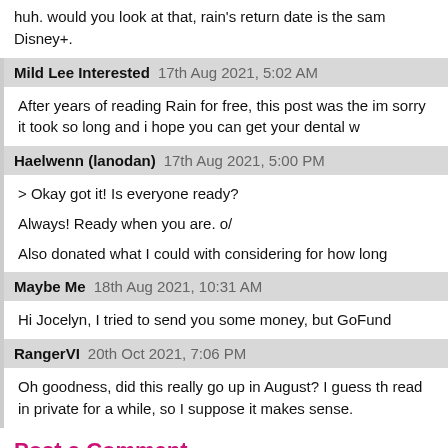huh. would you look at that, rain's return date is the same as Disney+.
Mild Lee Interested   17th Aug 2021, 5:02 AM
After years of reading Rain for free, this post was the im sorry it took so long and i hope you can get your dental w
Haelwenn (lanodan)   17th Aug 2021, 5:00 PM
> Okay got it! Is everyone ready?
Always! Ready when you are. o/
Also donated what I could with considering for how long
Maybe Me   18th Aug 2021, 10:31 AM
Hi Jocelyn, I tried to send you some money, but GoFund
RangerVI   20th Oct 2021, 7:06 PM
Oh goodness, did this really go up in August? I guess th read in private for a while, so I suppose it makes sense.
Post a Comment